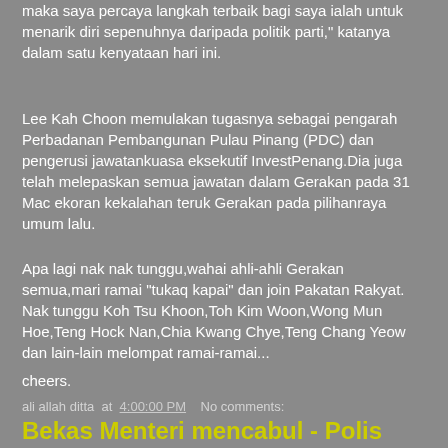maka saya percaya langkah terbaik bagi saya ialah untuk menarik diri sepenuhnya daripada politik parti," katanya dalam satu kenyataan hari ini.
Lee Kah Choon memulakan tugasnya sebagai pengarah Perbadanan Pembangunan Pulau Pinang (PDC) dan pengerusi jawatankuasa eksekutif InvestPenang.Dia juga telah melepaskan semua jawatan dalam Gerakan pada 31 Mac ekoran kekalahan teruk Gerakan pada pilihanraya umum lalu.
Apa lagi nak nak tunggu,wahai ahli-ahli Gerakan semua,mari ramai "tukaq kapai" dan join Pakatan Rakyat. Nak tunggu Koh Tsu Khoon,Toh Kim Woon,Wong Mun Hoe,Teng Hock Nan,Chia Kwang Chye,Teng Chang Yeow dan lain-lain melompat ramai-ramai...
cheers.
ali allah ditta at 4:00:00 PM   No comments:
Bekas Menteri mencabul - Polis dok siasat